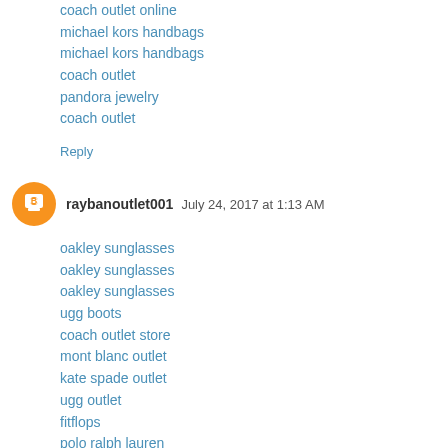coach outlet online
michael kors handbags
michael kors handbags
coach outlet
pandora jewelry
coach outlet
Reply
raybanoutlet001   July 24, 2017 at 1:13 AM
oakley sunglasses
oakley sunglasses
oakley sunglasses
ugg boots
coach outlet store
mont blanc outlet
kate spade outlet
ugg outlet
fitflops
polo ralph lauren
Reply